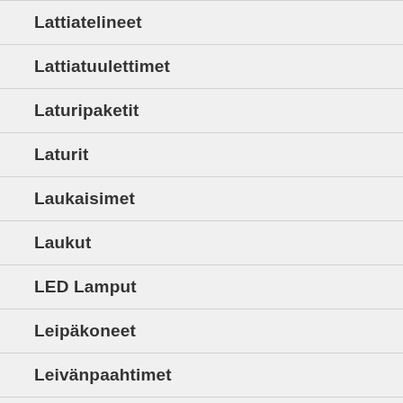Lattiatelineet
Lattiatuulettimet
Laturipaketit
Laturit
Laukaisimet
Laukut
LED Lamput
Leipäkoneet
Leivänpaahtimet